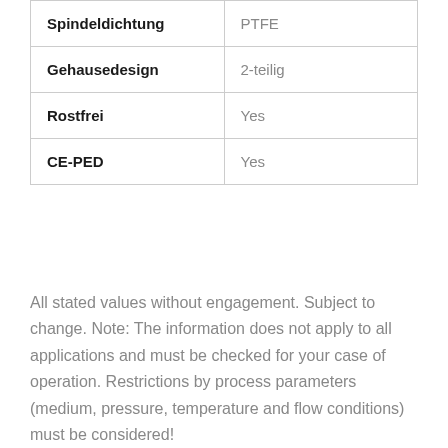| Spindeldichtung | PTFE |
| Gehausedesign | 2-teilig |
| Rostfrei | Yes |
| CE-PED | Yes |
All stated values without engagement. Subject to change. Note: The information does not apply to all applications and must be checked for your case of operation. Restrictions by process parameters (medium, pressure, temperature and flow conditions) must be considered!